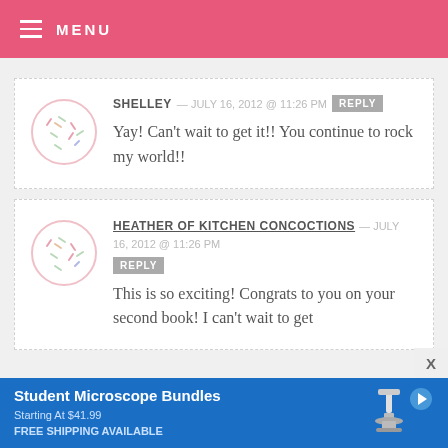MENU
SHELLEY — JULY 16, 2012 @ 11:26 PM REPLY
Yay! Can't wait to get it!! You continue to rock my world!!
HEATHER OF KITCHEN CONCOCTIONS — JULY 16, 2012 @ 11:26 PM REPLY
This is so exciting! Congrats to you on your second book! I can't wait to get
[Figure (infographic): Advertisement banner for Student Microscope Bundles, Starting At $41.99, FREE SHIPPING AVAILABLE, with microscope image on blue background]